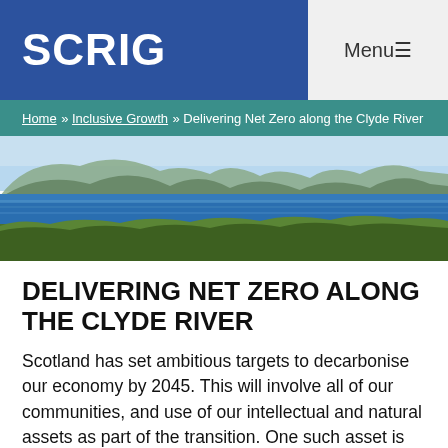SCRIG
Menu
Home » Inclusive Growth » Delivering Net Zero along the Clyde River
[Figure (photo): Aerial/elevated view of the River Clyde with hills and mountains in background, trees in foreground, blue sky and water.]
DELIVERING NET ZERO ALONG THE CLYDE RIVER
Scotland has set ambitious targets to decarbonise our economy by 2045. This will involve all of our communities, and use of our intellectual and natural assets as part of the transition. One such asset is the river Clyde. Long a global